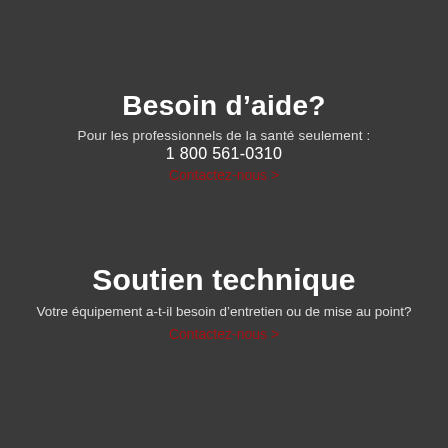Besoin d’aide?
Pour les professionnels de la santé seulement :
1 800 561-0310
Contactez-nous >
Soutien technique
Votre équipement a-t-il besoin d’entretien ou de mise au point?
Contactez-nous >